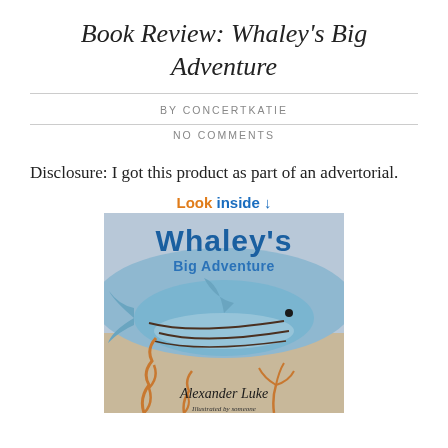Book Review: Whaley's Big Adventure
BY CONCERTKATIE
NO COMMENTS
Disclosure: I got this product as part of an advertorial.
[Figure (illustration): Book cover of 'Whaley's Big Adventure' by Alexander Luke, showing a blue whale illustration with seaweed at the bottom, with a 'Look inside' badge at the top.]